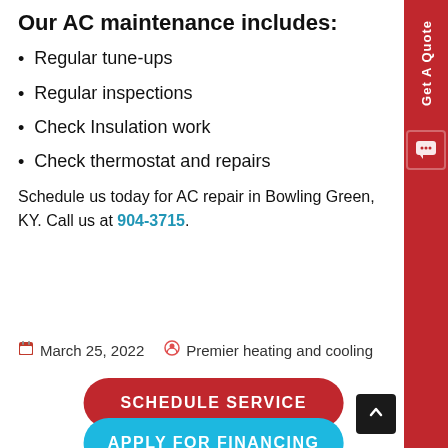Our AC maintenance includes:
Regular tune-ups
Regular inspections
Check Insulation work
Check thermostat and repairs
Schedule us today for AC repair in Bowling Green, KY. Call us at 904-3715.
March 25, 2022   Premier heating and cooling
SCHEDULE SERVICE
APPLY FOR FINANCING